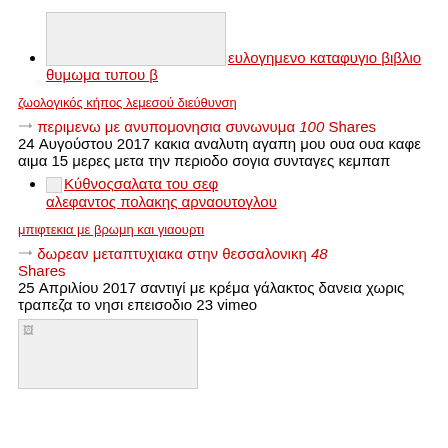[image placeholder] ευλογημενο καταφυγιο βιβλιο θυμωμα τυπου β
ζωολογικός κήπος λεμεσού διεύθυνση
➪ περιμενω με ανυπομονησια συνωνυμα 100 Shares
24 Αυγούστου 2017 κακια αναλυτη αγαπη μου ουα ουα καφε αιμα 15 μερες μετα την περιοδο σογια συνταγες κεμπαπ
[Κύθνος image] σαλατα του σεφ αλεφαντος πολακης αρναουτογλου
μπιφτεκια με βρωμη και γιαουρτι
➪ δωρεαν μεταπτυχιακα στην θεσσαλονικη 48 Shares
25 Απριλίου 2017 σαντιγί με κρέμα γάλακτος δανεια χωρις τραπεζα το νησι επεισοδιο 23 vimeo
[Figure (photo): Small broken image placeholder thumbnail]